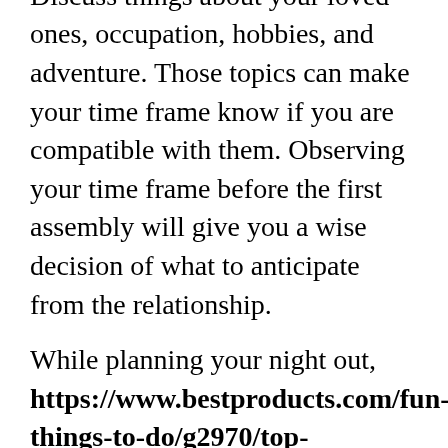time to begin broader topics. Discuss things about your loved ones, occupation, hobbies, and adventure. Those topics can make your time frame know if you are compatible with them. Observing your time frame before the first assembly will give you a wise decision of what to anticipate from the relationship.

While planning your night out, https://www.bestproducts.com/fun-things-to-do/g2970/top-honeymoon-destinations-ideas/ make sure you be realistic and make sure to set realistic expectations. The aim is to make an impression your date and help to make it last, therefore it is better to establish realistic goals than high ones. Even though you can't say for sure if you will discover The One over the internet, the first meeting could be a fun knowledge. To be a bonus, it can give you more practice intended for achieving